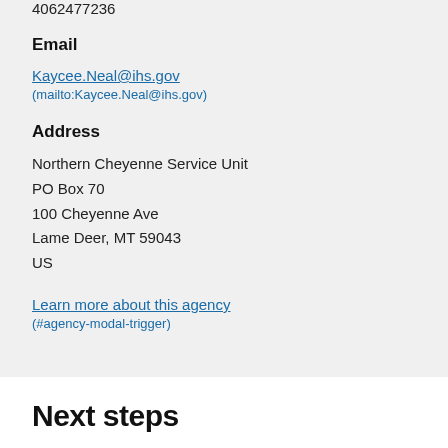4062477236
Email
Kaycee.Neal@ihs.gov (mailto:Kaycee.Neal@ihs.gov)
Address
Northern Cheyenne Service Unit
PO Box 70
100 Cheyenne Ave
Lame Deer, MT 59043
US
Learn more about this agency (#agency-modal-trigger)
Next steps
You can track the progress of your application package via your USAJobs account. You will receive an acknowledgement from USAJobs that your submission was successful once we have received your on-line occupational questionnaire, resume, and any supporting documentation. You will be